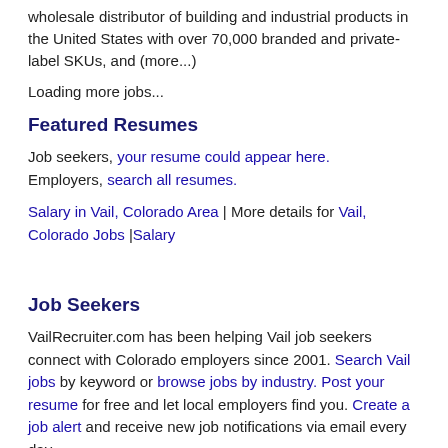wholesale distributor of building and industrial products in the United States with over 70,000 branded and private-label SKUs, and (more...)
Loading more jobs...
Featured Resumes
Job seekers, your resume could appear here. Employers, search all resumes.
Salary in Vail, Colorado Area | More details for Vail, Colorado Jobs |Salary
Job Seekers
VailRecruiter.com has been helping Vail job seekers connect with Colorado employers since 2001. Search Vail jobs by keyword or browse jobs by industry. Post your resume for free and let local employers find you. Create a job alert and receive new job notifications via email every day.
Employers and Staffing Firms